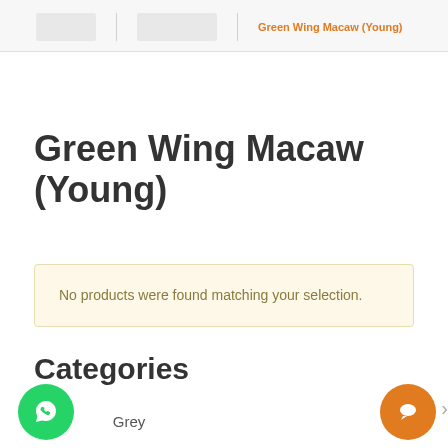Green Wing Macaw (Young)
Green Wing Macaw (Young)
No products were found matching your selection.
Categories
African Grey